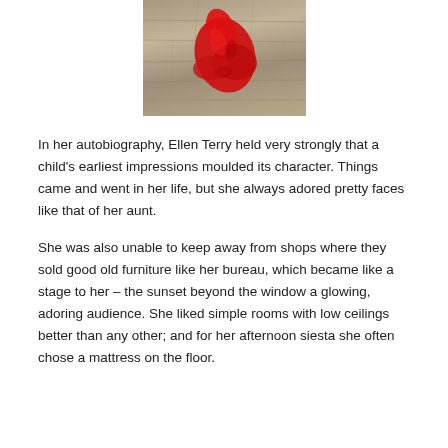[Figure (photo): A red cloth or garment crumpled on a wooden floor with grey-toned planks.]
In her autobiography, Ellen Terry held very strongly that a child's earliest impressions moulded its character. Things came and went in her life, but she always adored pretty faces like that of her aunt.
She was also unable to keep away from shops where they sold good old furniture like her bureau, which became like a stage to her – the sunset beyond the window a glowing, adoring audience. She liked simple rooms with low ceilings better than any other; and for her afternoon siesta she often chose a mattress on the floor.